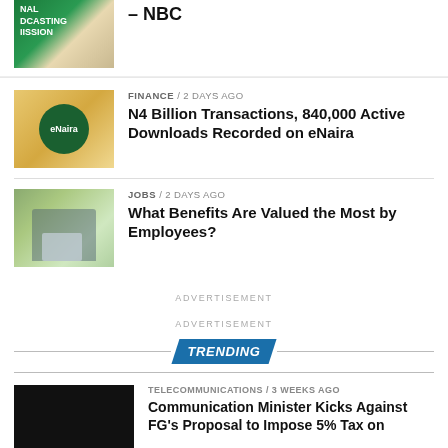[Figure (photo): Partial image of NBC (National Broadcasting Commission) logo/building cropped at top]
– NBC
[Figure (photo): People at an eNaira event with eNaira logo sign visible]
FINANCE / 2 days ago
N4 Billion Transactions, 840,000 Active Downloads Recorded on eNaira
[Figure (photo): Person working at a desk with laptop in an office environment]
JOBS / 2 days ago
What Benefits Are Valued the Most by Employees?
ADVERTISEMENT
ADVERTISEMENT
TRENDING
[Figure (photo): Dark/black image placeholder for trending article]
TELECOMMUNICATIONS / 3 weeks ago
Communication Minister Kicks Against FG's Proposal to Impose 5% Tax on